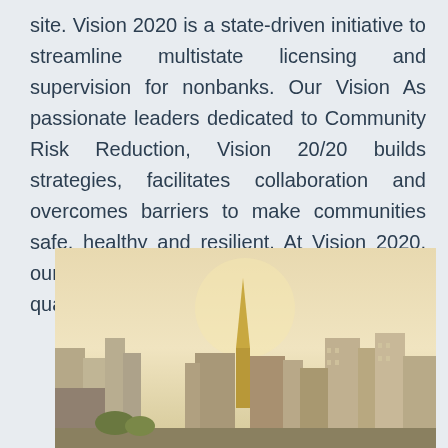site. Vision 2020 is a state-driven initiative to streamline multistate licensing and supervision for nonbanks. Our Vision As passionate leaders dedicated to Community Risk Reduction, Vision 20/20 builds strategies, facilitates collaboration and overcomes barriers to make communities safe, healthy and resilient. At Vision 2020, our goal is to offer personalized and high quality care at a reasonable price.
[Figure (photo): Cityscape photo showing urban skyline with a prominent golden spire/church steeple in the center, surrounded by multi-story buildings, against a warm golden-hued sky.]